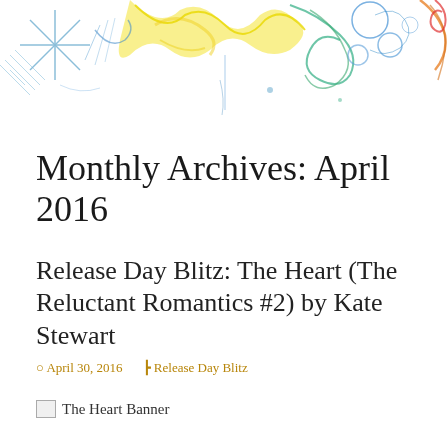[Figure (illustration): Colorful hand-drawn doodle illustration banner at top of page with flowers, swirls, and abstract shapes in blue, yellow, green, orange, and red on white background]
Monthly Archives: April 2016
Release Day Blitz: The Heart (The Reluctant Romantics #2) by Kate Stewart
April 30, 2016   Release Day Blitz
[Figure (illustration): Broken image placeholder labeled 'The Heart Banner']